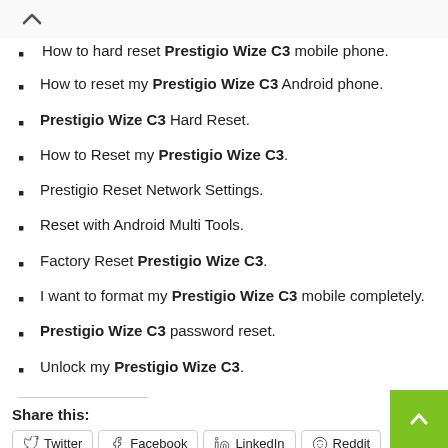How to hard reset Prestigio Wize C3 mobile phone.
How to reset my Prestigio Wize C3 Android phone.
Prestigio Wize C3 Hard Reset.
How to Reset my Prestigio Wize C3.
Prestigio Reset Network Settings.
Reset with Android Multi Tools.
Factory Reset Prestigio Wize C3.
I want to format my Prestigio Wize C3 mobile completely.
Prestigio Wize C3 password reset.
Unlock my Prestigio Wize C3.
Share this:
Twitter, Facebook, LinkedIn, Reddit, Tumblr, Pinterest, Telegram, WhatsApp, Skype